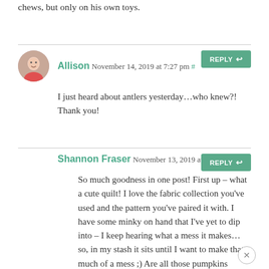chews, but only on his own toys.
Allison November 14, 2019 at 7:27 pm #
I just heard about antlers yesterday…who knew?! Thank you!
Shannon Fraser November 13, 2019 at 7:11 am
So much goodness in one post! First up – what a cute quilt! I love the fabric collection you've used and the pattern you've paired it with. I have some minky on hand that I've yet to dip into – I keep hearing what a mess it makes… so, in my stash it sits until I want to make that much of a mess ;) Are all those pumpkins yours? If so, how fun to see them all grow! And last, but certainly not least, I ADORE your new little pup. We've had quite a few labs in our family – mainly white labs – and they're my allll time fave. Have fun